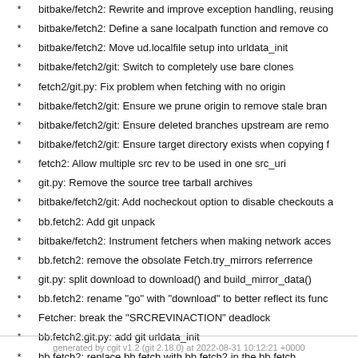bitbake/fetch2: Rewrite and improve exception handling, reusing
bitbake/fetch2: Define a sane localpath function and remove co
bitbake/fetch2: Move ud.localfile setup into urldata_init
bitbake/fetch2/git: Switch to completely use bare clones
fetch2/git.py: Fix problem when fetching with no origin
bitbake/fetch2/git: Ensure we prune origin to remove stale bran
bitbake/fetch2/git: Ensure deleted branches upstream are remo
bitbake/fetch2/git: Ensure target directory exists when copying f
fetch2: Allow multiple src rev to be used in one src_uri
git.py: Remove the source tree tarball archives
bitbake/fetch2/git: Add nocheckout option to disable checkouts a
bb.fetch2: Add git unpack
bitbake/fetch2: Instrument fetchers when making network acces
bb.fetch2: remove the obsolate Fetch.try_mirrors referrence
git.py: split download to download() and build_mirror_data()
bb.fetch2: rename "go" with "download" to better reflect its func
Fetcher: break the "SRCREVINACTION" deadlock
bb.fetch2.git.py: add git urldata_init
bb.fetch2: replace bb.fetch with bb.fetch2 in the bb.fetch
fetch2/git: Remove duplicated code only added for backwards c
bitbake: copy bb.fetch to bb.fetch2 as initial code base for fetche
generated by cgit v1.2 (git 2.18.0) at 2022-08-31 10:12:21 +0000